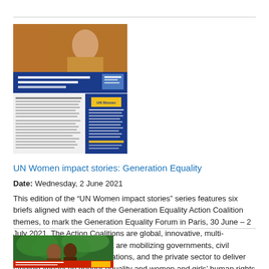[Figure (photo): Thumbnail image showing a woman with a document overlay featuring UN Women branding and Spanish-language text]
UN Women impact stories: Generation Equality
Date: Wednesday, 2 June 2021
This edition of the "UN Women impact stories" series features six briefs aligned with each of the Generation Equality Action Coalition themes, to mark the Generation Equality Forum in Paris, 30 June – 2 July 2021. The Action Coalitions are global, innovative, multi-stakeholder partnerships that are mobilizing governments, civil society, international organizations, and the private sector to deliver tangible impact on gender equality and women and girls' human rights by 2026.
[Figure (photo): Thumbnail image at bottom showing two people outdoors with tropical foliage background]